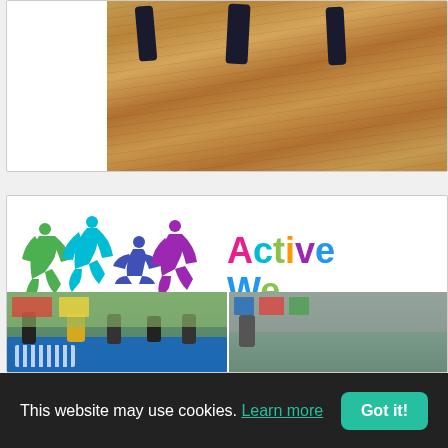[Figure (photo): Aerial view of people exercising on a wooden gym floor, dark silhouette figures visible]
[Figure (logo): Yoga logo with colorful silhouette figures in yoga poses above the word 'yoga' in dark gray]
Active We
Ms. Cullinane's
[Figure (photo): Two classroom photos showing children doing yoga/stretching on blue mats in a colorful classroom]
This website may use cookies. Learn more  Got it!